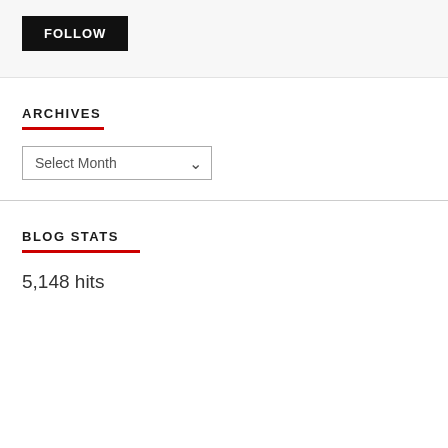FOLLOW
ARCHIVES
Select Month
BLOG STATS
5,148 hits